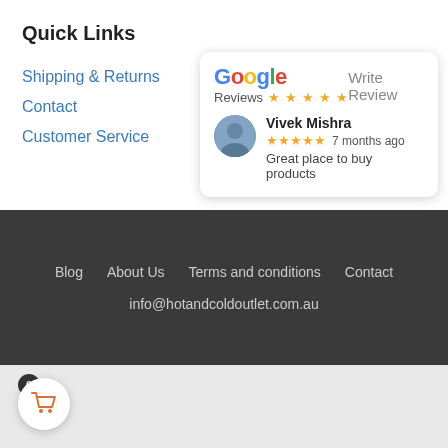Quick Links
Shipping & Returns
Contact
Customer Service
[Figure (screenshot): Google Reviews widget card showing 5-star rating and a review by Vivek Mishra: 'Great place to buy products' 7 months ago, with a Write Review button]
Blog   About Us   Terms and conditions   Contact
info@hotandcoldoutlet.com.au